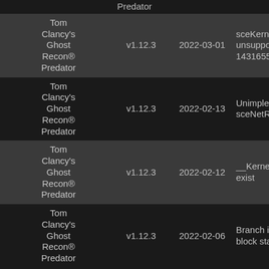| Game | Version | Date | Description |
| --- | --- | --- | --- |
| Predator |  |  |  |
| Tom Clancy's Ghost Recon® Predator | v1.12.3 | 2022-03-01 | sceKernelC unsupport 143165576 |
| Tom Clancy's Ghost Recon® Predator | v1.12.3 | 2022-02-13 | Unimplem sceNetRes |
| Tom Clancy's Ghost Recon® Predator | v1.12.3 | 2022-02-12 | __KernelSt exist |
| Tom Clancy's Ghost Recon® Predator | v1.12.3 | 2022-02-06 | Branch in _ block start |